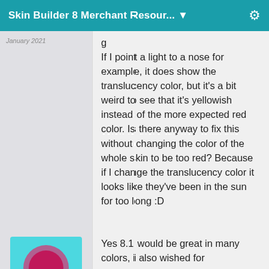Skin Builder 8 Merchant Resour... ▼
January 2021
If I point a light to a nose for example, it does show the translucency color, but it's a bit weird to see that it's yellowish instead of the more expected red color. Is there anyway to fix this without changing the color of the whole skin to be too red? Because if I change the translucency color it looks like they've been in the sun for too long :D
Yes 8.1 would be great in many colors, i also wished for